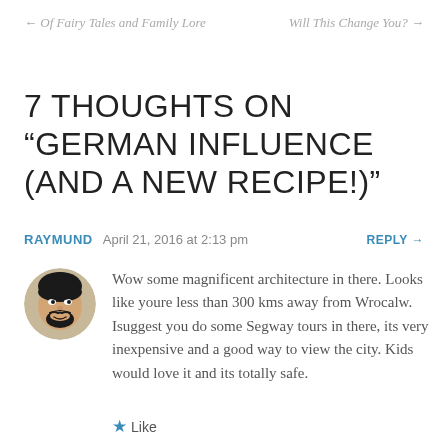← Of Fairy Tales and Family Lore
Will This Change You? →
7 THOUGHTS ON “GERMAN INFLUENCE (AND A NEW RECIPE!)”
RAYMUND   April 21, 2016 at 2:13 pm   REPLY →
Wow some magnificent architecture in there. Looks like youre less than 300 kms away from Wrocalw. Isuggest you do some Segway tours in there, its very inexpensive and a good way to view the city. Kids would love it and its totally safe.
★ Like